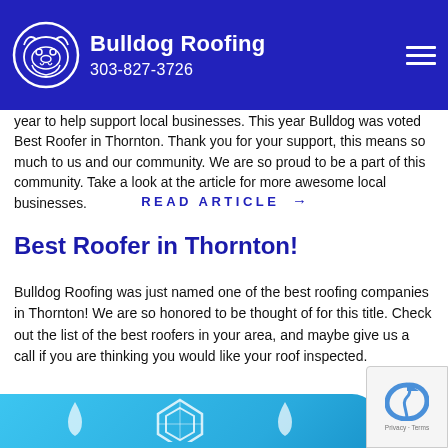Bulldog Roofing | 303-827-3726
year to help support local businesses. This year Bulldog was voted Best Roofer in Thornton. Thank you for your support, this means so much to us and our community. We are so proud to be a part of this community. Take a look at the article for more awesome local businesses.
READ ARTICLE →
Best Roofer in Thornton!
Bulldog Roofing was just named one of the best roofing companies in Thornton! We are so honored to be thought of for this title. Check out the list of the best roofers in your area, and maybe give us a call if you are thinking you would like your roof inspected.
READ ARTICLE →
[Figure (other): Light blue curved banner at bottom with white diamond/geometric logo icon in center]